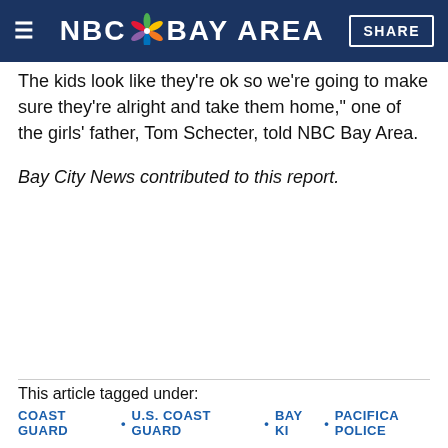NBC Bay Area | SHARE
The kids look like they're ok so we're going to make sure they're alright and take them home," one of the girls' father, Tom Schecter, told NBC Bay Area.
Bay City News contributed to this report.
This article tagged under:
COAST GUARD · U.S. COAST GUARD · BAY KI · PACIFICA POLICE